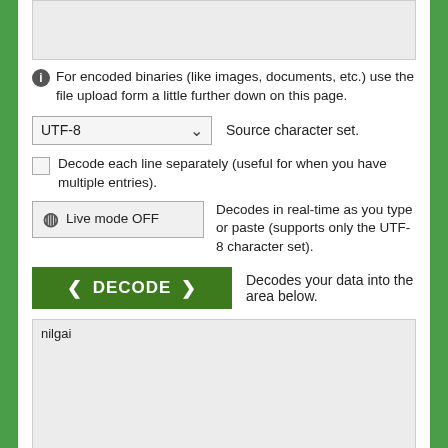[Figure (screenshot): Top textarea input area (empty, grayed out)]
For encoded binaries (like images, documents, etc.) use the file upload form a little further down on this page.
[Figure (screenshot): UTF-8 dropdown selector with label 'Source character set.']
Decode each line separately (useful for when you have multiple entries).
Live mode OFF   Decodes in real-time as you type or paste (supports only the UTF-8 character set).
DECODE   Decodes your data into the area below.
[Figure (screenshot): Output textarea containing 'nilgai']
Decode files from Base64 format